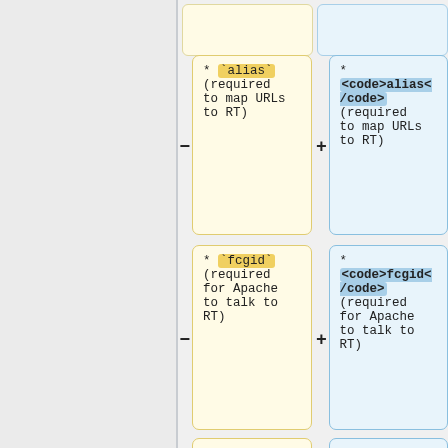[Figure (screenshot): Diff/comparison view showing two columns. Left column (yellow background) shows markdown-style backtick code, right column (blue background) shows HTML-formatted code. Row 1: alias (required to map URLs to RT). Row 2: fcgid (required for Apache to talk to RT). Row 3: mpm_prefork (Apache requires you to...]